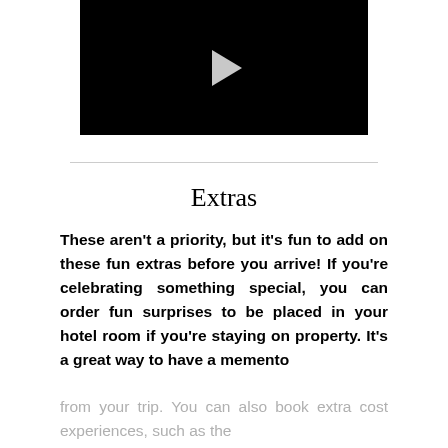[Figure (screenshot): Black video player with a gray play button triangle in the center]
Extras
These aren't a priority, but it's fun to add on these fun extras before you arrive! If you're celebrating something special, you can order fun surprises to be placed in your hotel room if you're staying on property. It's a great way to have a memento from your trip. You can also book extra cost experiences, such as the